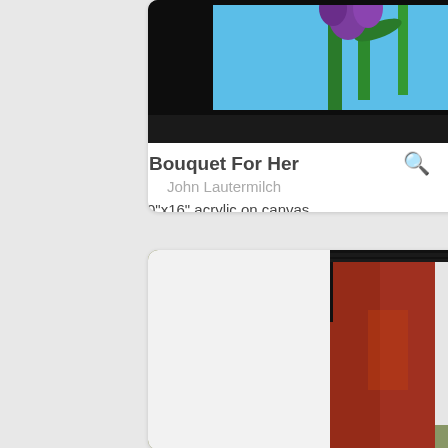[Figure (photo): Partial view of a painting showing purple iris flowers with green stems against a blue background with black border — top portion of 'Bouquet For Her' by John Lautermilch]
Bouquet For Her
John Lautermilch
20"x16" acrylic on canvas
$500.00
[Figure (photo): Partial view of a painting showing an abstract composition with an olive green background, a rectangular frame with red/orange left side, yellow right side, and a white center panel — second artwork listing]